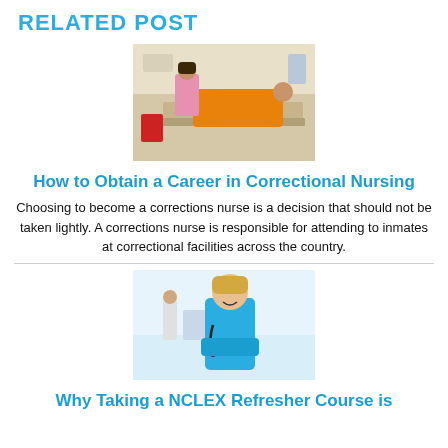RELATED POST
[Figure (photo): A nurse in pink scrubs attending to a patient in an orange jumpsuit lying on a medical bed in a correctional facility room.]
How to Obtain a Career in Correctional Nursing
Choosing to become a corrections nurse is a decision that should not be taken lightly. A corrections nurse is responsible for attending to inmates at correctional facilities across the country.
[Figure (photo): A smiling female nurse in blue scrubs with a stethoscope, standing in a hospital setting with other medical staff in the background.]
Why Taking a NCLEX Refresher Course is